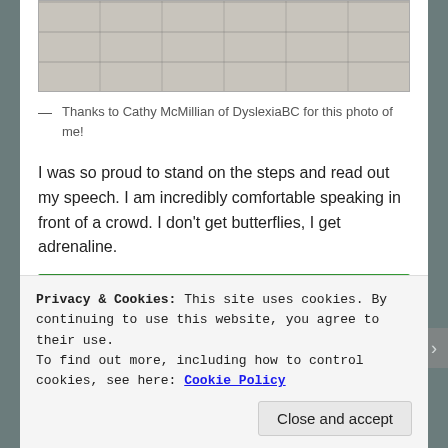[Figure (photo): Partial photo of stone/concrete steps texture, cropped at top of page]
— Thanks to Cathy McMillian of DyslexiaBC for this photo of me!
I was so proud to stand on the steps and read out my speech. I am incredibly comfortable speaking in front of a crowd. I don't get butterflies, I get adrenaline.
[Figure (screenshot): Green advertisement banner for WordPress backup plugin]
Privacy & Cookies: This site uses cookies. By continuing to use this website, you agree to their use. To find out more, including how to control cookies, see here: Cookie Policy
Close and accept